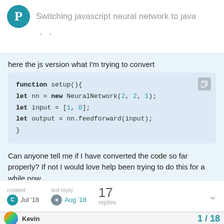Switching javascript neural network to java
here the js version what I'm trying to convert
[Figure (screenshot): Code block showing JavaScript function setup() with let nn = new NeuralNetwork(2, 2, 1); let input = [1, 0]; let output = nn.feedforward(input); }]
Can anyone tell me if I have converted the code so far properly? If not I would love help been trying to do this for a while now.
created Jul '18   last reply Aug '18   17 replies
Kevin
1 / 18